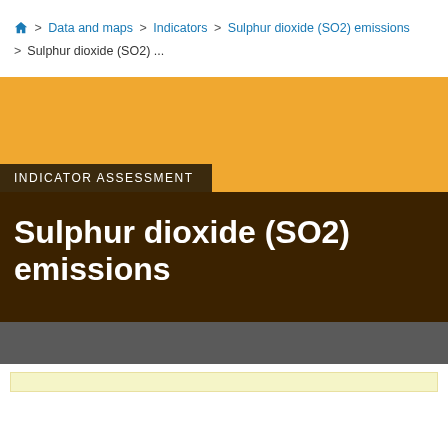🏠 > Data and maps > Indicators > Sulphur dioxide (SO2) emissions > Sulphur dioxide (SO2) ...
INDICATOR ASSESSMENT
Sulphur dioxide (SO2) emissions